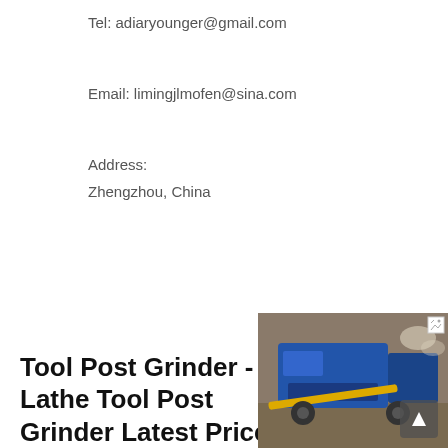Tel: adiaryounger@gmail.com
Email: limingjlmofen@sina.com
Address:
Zhengzhou, China
Tool Post Grinder - Lathe Tool Post Grinder Latest Price ...
[Figure (photo): Photo of a industrial grinding or crushing machine, partially cropped, with blue machinery and yellow elements visible against a rocky/dusty background.]